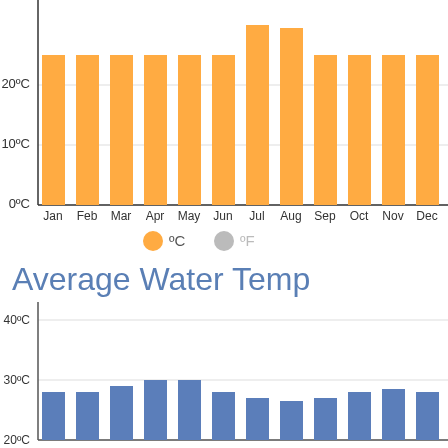[Figure (bar-chart): Average Air Temperature (top, partial)]
°C  °F
Average Water Temp
[Figure (bar-chart): Average Water Temp]